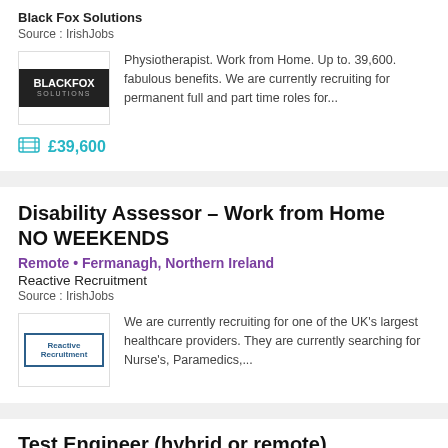Black Fox Solutions
Source : IrishJobs
Physiotherapist. Work from Home. Up to. 39,600. fabulous benefits. We are currently recruiting for permanent full and part time roles for...
£39,600
Disability Assessor – Work from Home NO WEEKENDS
Remote • Fermanagh, Northern Ireland
Reactive Recruitment
Source : IrishJobs
We are currently recruiting for one of the UK's largest healthcare providers. They are currently searching for Nurse's, Paramedics,...
Test Engineer (hybrid or remote)